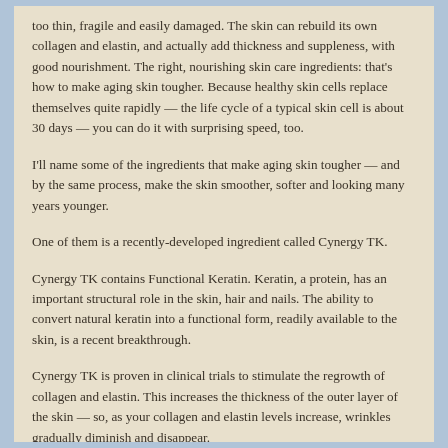too thin, fragile and easily damaged. The skin can rebuild its own collagen and elastin, and actually add thickness and suppleness, with good nourishment. The right, nourishing skin care ingredients: that's how to make aging skin tougher. Because healthy skin cells replace themselves quite rapidly — the life cycle of a typical skin cell is about 30 days — you can do it with surprising speed, too.
I'll name some of the ingredients that make aging skin tougher — and by the same process, make the skin smoother, softer and looking many years younger.
One of them is a recently-developed ingredient called Cynergy TK.
Cynergy TK contains Functional Keratin. Keratin, a protein, has an important structural role in the skin, hair and nails. The ability to convert natural keratin into a functional form, readily available to the skin, is a recent breakthrough.
Cynergy TK is proven in clinical trials to stimulate the regrowth of collagen and elastin. This increases the thickness of the outer layer of the skin — so, as your collagen and elastin levels increase, wrinkles gradually diminish and disappear.